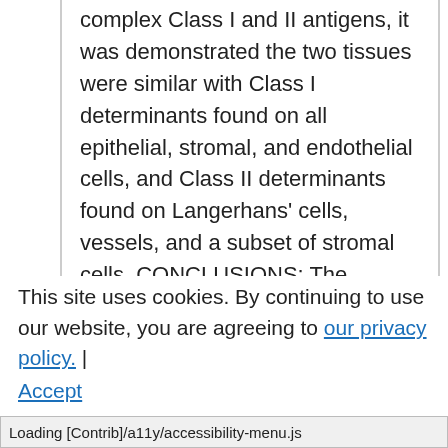complex Class I and II antigens, it was demonstrated the two tissues were similar with Class I determinants found on all epithelial, stromal, and endothelial cells, and Class II determinants found on Langerhans' cells, vessels, and a subset of stromal cells. CONCLUSIONS: The availability of tissue-specific markers of epithelial and nonepithelial components of the cornea and conjunctiva should be of use in the study of the roles the ocular microenvironment might play in the pathogenesis of ocular
inflammatory diseases.
This site uses cookies. By continuing to use our website, you are agreeing to our privacy policy. Accept
Loading [Contrib]/a11y/accessibility-menu.js